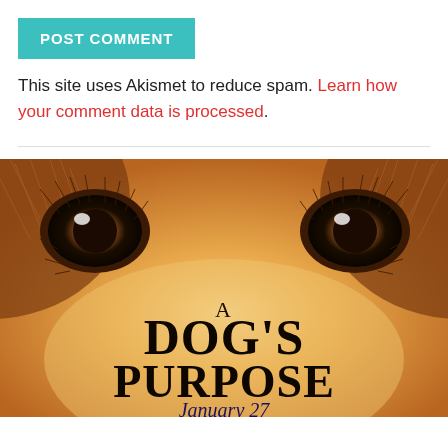POST COMMENT
This site uses Akismet to reduce spam. Learn how your comment data is processed.
[Figure (photo): Movie poster for 'A Dog's Purpose' showing a close-up of a golden dog's eyes with the text 'A DOG'S PURPOSE January 27']